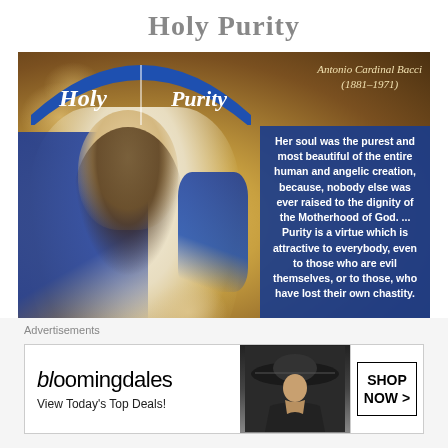Holy Purity
[Figure (illustration): Book cover image for 'Holy Purity' by Antonio Cardinal Bacci (1881-1971), showing a painting of the Virgin Mary in white robes with blue mantle, with angels in the background and a blue banner reading 'Holy Purity'. A blue quote box on the right reads: 'Her soul was the purest and most beautiful of the entire human and angelic creation, because, nobody else was ever raised to the dignity of the Motherhood of God. ... Purity is a virtue which is attractive to everybody, even to those who are evil themselves, or to those, who have lost their own chastity.']
Advertisements
[Figure (other): Bloomingdale's advertisement banner: 'bloomingdales View Today's Top Deals!' with a woman in a large hat, and a 'SHOP NOW >' button.]